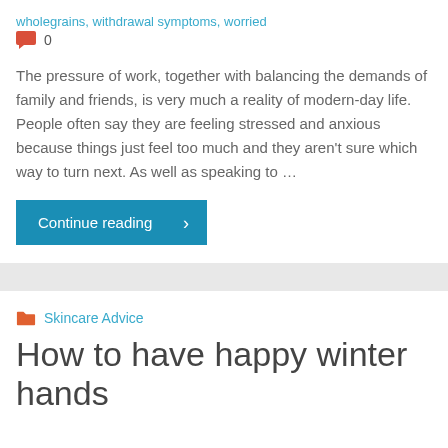wholegrains, withdrawal symptoms, worried
0
The pressure of work, together with balancing the demands of family and friends, is very much a reality of modern-day life. People often say they are feeling stressed and anxious because things just feel too much and they aren't sure which way to turn next. As well as speaking to …
Continue reading
Skincare Advice
How to have happy winter hands